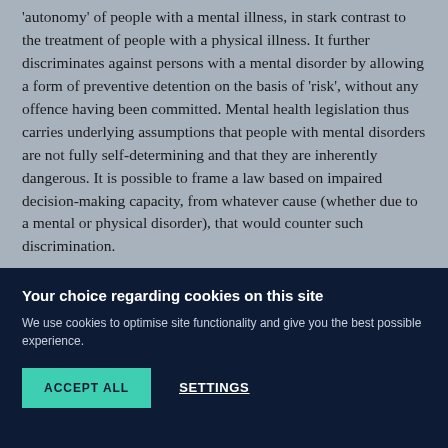'autonomy' of people with a mental illness, in stark contrast to the treatment of people with a physical illness.  It further discriminates against persons with a mental disorder by allowing a form of preventive detention on the basis of 'risk', without any offence having been committed.  Mental health legislation thus carries underlying assumptions that people with mental disorders are not fully self-determining and that they are inherently dangerous.  It is possible to frame a law based on impaired decision-making capacity, from whatever cause (whether due to a mental or physical disorder), that would counter such discrimination.
Your choice regarding cookies on this site
We use cookies to optimise site functionality and give you the best possible experience.